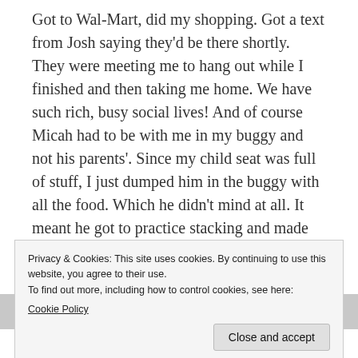Got to Wal-Mart, did my shopping. Got a text from Josh saying they'd be there shortly. They were meeting me to hang out while I finished and then taking me home. We have such rich, busy social lives! And of course Micah had to be with me in my buggy and not his parents'. Since my child seat was full of stuff, I just dumped him in the buggy with all the food. Which he didn't mind at all. It meant he got to practice stacking and made cool towers with my Noxema, instant tea, and a can of gooshy food. He was so proud!
Privacy & Cookies: This site uses cookies. By continuing to use this website, you agree to their use.
To find out more, including how to control cookies, see here:
Cookie Policy
and it was getting on toward his naptime. Mandi